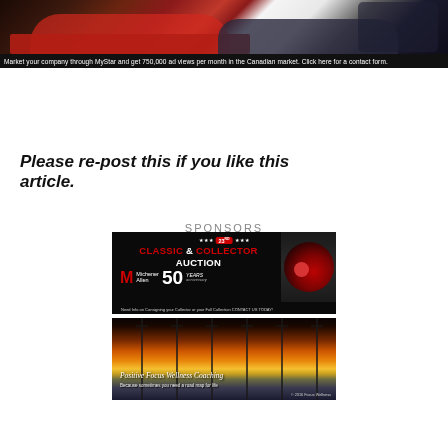[Figure (photo): Advertisement banner showing classic cars with dark overlay and text at bottom: 'Market your company through MyStar and get 750,000 ad views per month in the Canadian market. Click here for a contact form.']
Please re-post this if you like this article.
SPONSORS
[Figure (photo): 23rd Classic & Collector Auction advertisement by Michener Allen, 50 Years anniversary. Black background with red classic car. URL: www.msauctions.com. Bottom text: 'Need Info on Consigning your Collector or your Full Collection CONTACT US TODAY!']
[Figure (photo): Positive Focus Wellness Coaching advertisement showing a sunset over a parking lot with light poles. Text: 'Positive Focus Wellness Coaching - Because sometimes you need a road map for life']